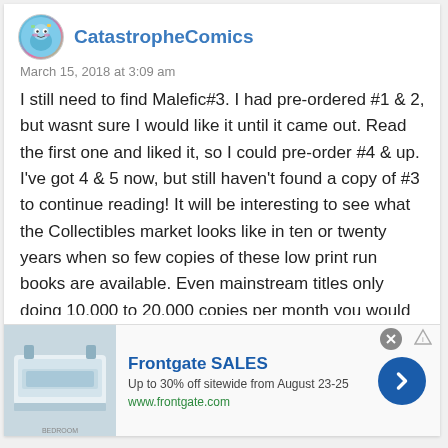[Figure (illustration): Circular avatar image with colorful illustrated character for CatastropheComics user]
CatastropheComics
March 15, 2018 at 3:09 am
I still need to find Malefic#3. I had pre-ordered #1 & 2, but wasnt sure I would like it until it came out. Read the first one and liked it, so I could pre-order #4 & up. I’ve got 4 & 5 now, but still haven’t found a copy of #3 to continue reading! It will be interesting to see what the Collectibles market looks like in ten or twenty years when so few copies of these low print run books are available. Even mainstream titles only doing 10,000 to 20,000 copies per month you would think are going to become scarce, if people actually start seeking them out. And not every copy lands in a
[Figure (photo): Advertisement image showing bedroom with bedding products from Frontgate]
Frontgate SALES
Up to 30% off sitewide from August 23-25
www.frontgate.com